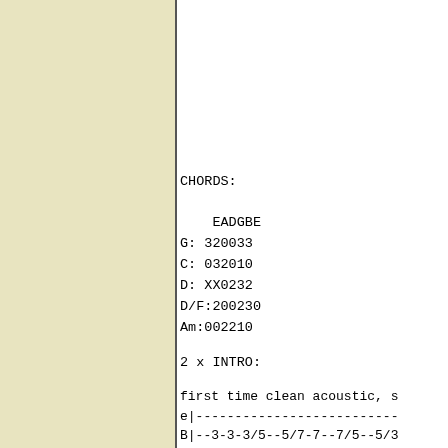CHORDS:

    EADGBE
G: 320033
C: 032010
D: XX0232
D/F:200230
Am:002210
2 x INTRO:
first time clean acoustic, s
e|-------------------------
B|--3-3-3/5--5/7-7--7/5--5/3
G|--4-4-4/5--5/7-7--7/5--5/4
D|-------------------------
A|-------------------------